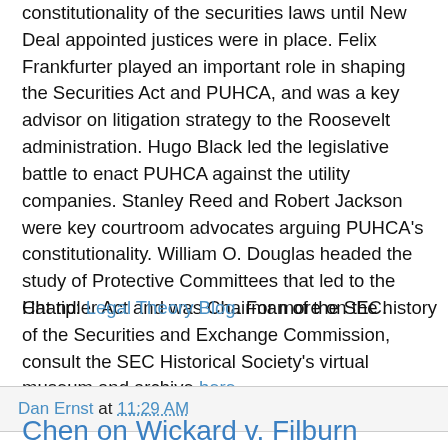constitutionality of the securities laws until New Deal appointed justices were in place. Felix Frankfurter played an important role in shaping the Securities Act and PUHCA, and was a key advisor on litigation strategy to the Roosevelt administration. Hugo Black led the legislative battle to enact PUHCA against the utility companies. Stanley Reed and Robert Jackson were key courtroom advocates arguing PUHCA's constitutionality. William O. Douglas headed the study of Protective Committees that led to the Chandler Act and was Chairman of the SEC.
Hat tip: Legal Theory Blog. For more on the history of the Securities and Exchange Commission, consult the SEC Historical Society's virtual museum and archive here.
Dan Ernst at 11:29 AM
Chen on Wickard v. Filburn